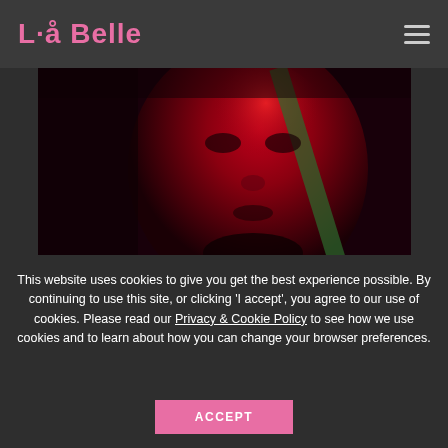La Belle
[Figure (photo): Close-up portrait of a person's face bathed in red and dark tones, with a green diagonal element. High contrast, moody red lighting.]
This website uses cookies to give you get the best experience possible. By continuing to use this site, or clicking 'I accept', you agree to our use of cookies. Please read our Privacy & Cookie Policy to see how we use cookies and to learn about how you can change your browser preferences.
ACCEPT